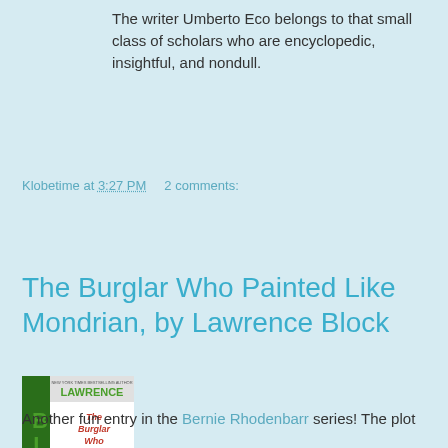The writer Umberto Eco belongs to that small class of scholars who are encyclopedic, insightful, and nondull.
Klobetime at 3:27 PM    2 comments:
Share
The Burglar Who Painted Like Mondrian, by Lawrence Block
[Figure (photo): Book cover of 'The Burglar Who Painted Like Mondrian' by Lawrence Block. Green lettering for BLOCK on the left spine, with colorful illustrated title text and painting-related imagery.]
Another fun entry in the Bernie Rhodenbarr series! The plot